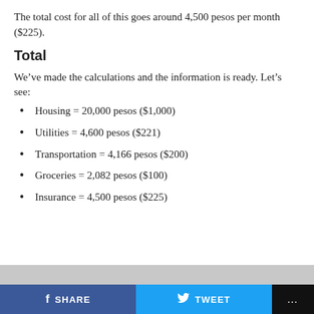The total cost for all of this goes around 4,500 pesos per month ($225).
Total
We've made the calculations and the information is ready. Let's see:
Housing = 20,000 pesos ($1,000)
Utilities = 4,600 pesos ($221)
Transportation = 4,166 pesos ($200)
Groceries = 2,082 pesos ($100)
Insurance = 4,500 pesos ($225)
SHARE   TWEET   ...